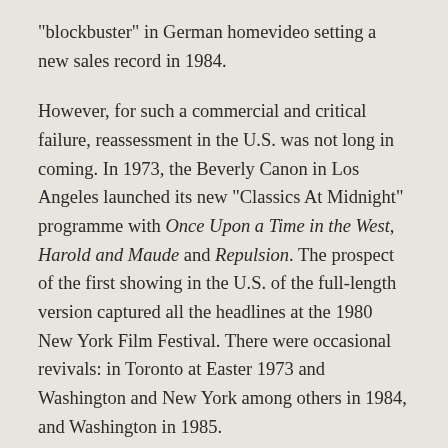“blockbuster” in German homevideo setting a new sales record in 1984.
However, for such a commercial and critical failure, reassessment in the U.S. was not long in coming. In 1973, the Beverly Canon in Los Angeles launched its new “Classics At Midnight” programme with Once Upon a Time in the West, Harold and Maude and Repulsion. The prospect of the first showing in the U.S. of the full-length version captured all the headlines at the 1980 New York Film Festival. There were occasional revivals: in Toronto at Easter 1973 and Washington and New York among others in 1984, and Washington in 1985.
It was named the best western ever made by British newspaper The Guardian newspaper and film magazine